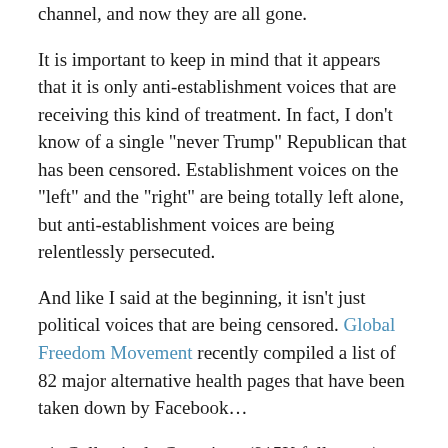channel, and now they are all gone.
It is important to keep in mind that it appears that it is only anti-establishment voices that are receiving this kind of treatment. In fact, I don’t know of a single “never Trump” Republican that has been censored. Establishment voices on the “left” and the “right” are being totally left alone, but anti-establishment voices are being relentlessly persecuted.
And like I said at the beginning, it isn’t just political voices that are being censored. Global Freedom Movement recently compiled a list of 82 major alternative health pages that have been taken down by Facebook…
Collectively Conscious (915K followers) – Deleted on June 13th, 2018.
Natural Cures Not Medicine (2.3M followers) – Deleted on June 11th, 2018.